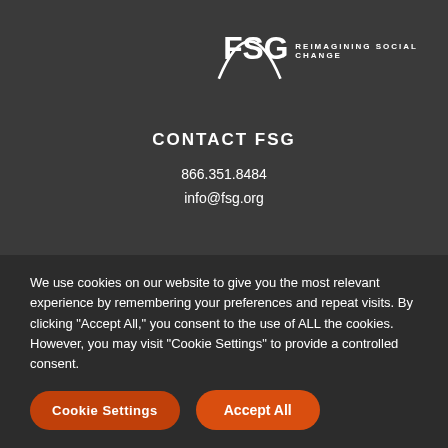[Figure (logo): FSG logo with arc and tagline REIMAGINING SOCIAL CHANGE]
CONTACT FSG
866.351.8484
info@fsg.org
FOLLOW FSG
[Figure (other): Social media icons: Twitter, Facebook, YouTube, LinkedIn]
We use cookies on our website to give you the most relevant experience by remembering your preferences and repeat visits. By clicking “Accept All,” you consent to the use of ALL the cookies. However, you may visit "Cookie Settings" to provide a controlled consent.
Cookie Settings
Accept All